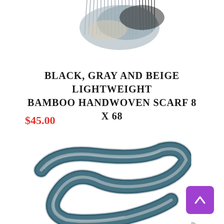[Figure (photo): Top portion of a black, gray, and beige fringed bamboo handwoven scarf with tassels visible against white background]
BLACK, GRAY AND BEIGE LIGHTWEIGHT BAMBOO HANDWOVEN SCARF 8 X 68
$45.00
ADD TO CART
[Figure (photo): Bottom portion showing a teal, gray and white woven scarf folded/coiled against a white background]
Back to top button (arrow up icon, purple background)